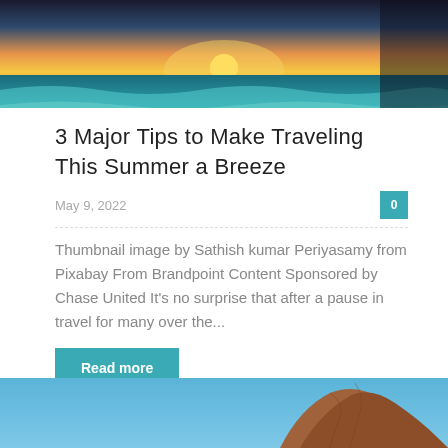[Figure (photo): Tropical beach sunset scene with turquoise waves crashing on sandy shore, dramatic orange and golden sky]
3 Major Tips to Make Traveling This Summer a Breeze
May 9, 2022
Thumbnail image by Sathish kumar Periyasamy from Pixabay From Brandpoint Content Sponsored by Chase United It's no surprise that after a pause in travel for many over the...
[Figure (photo): Rocky cliff or mountain landscape with blue sky, partial view at bottom of page]